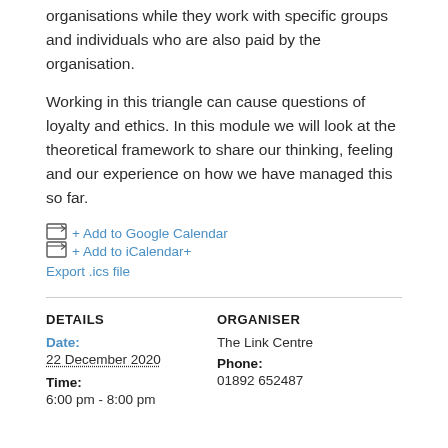organisations while they work with specific groups and individuals who are also paid by the organisation.
Working in this triangle can cause questions of loyalty and ethics. In this module we will look at the theoretical framework to share our thinking, feeling and our experience on how we have managed this so far.
+ Add to Google Calendar  + Add to iCalendar+
Export .ics file
DETAILS
ORGANISER
Date:
22 December 2020
The Link Centre
Phone:
Time:
01892 652487
6:00 pm - 8:00 pm